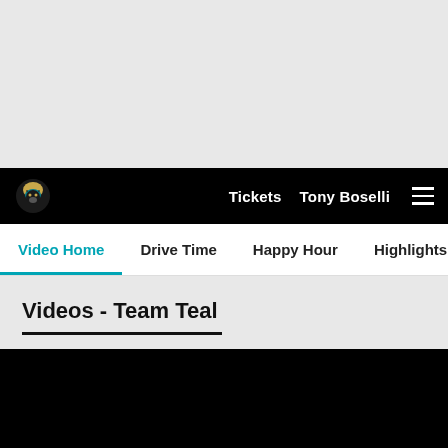[Figure (screenshot): Gray placeholder area at top of webpage]
Tickets  Tony Boselli  ≡
Video Home  Drive Time  Happy Hour  Highlights  The Hunt  G
Videos - Team Teal
[Figure (screenshot): Black video player area]